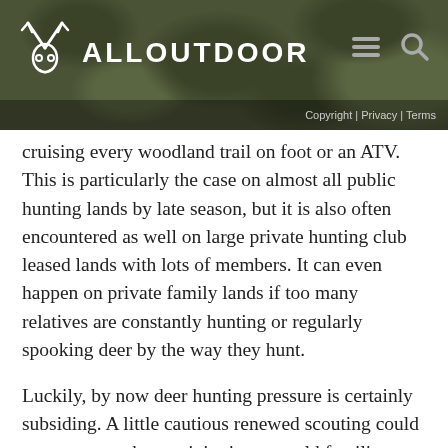ALLOUTDOOR | Copyright | Privacy | Terms
cruising every woodland trail on foot or an ATV. This is particularly the case on almost all public hunting lands by late season, but it is also often encountered as well on large private hunting club leased lands with lots of members. It can even happen on private family lands if too many relatives are constantly hunting or regularly spooking deer by the way they hunt.
Luckily, by now deer hunting pressure is certainly subsiding. A little cautious renewed scouting could uncover new deer activity in some old familiar spots. Be on the search for clues of newly created late rut rubs and scrapes, or fresh signs on old pre-rut activity signposts. Believe it or not, it's mid-January and I just photographed new, fresh rubs last weekend. Whatever that is all about, it means bucks are up and acting out.